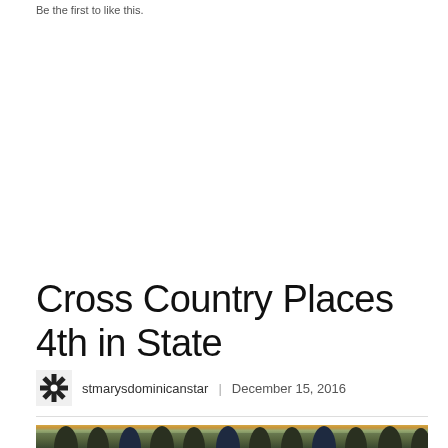Be the first to like this.
Cross Country Places 4th in State
stmarysdominicanstar | December 15, 2016
[Figure (photo): Group photo of cross country team members outdoors with trees in background at dusk/sunset]